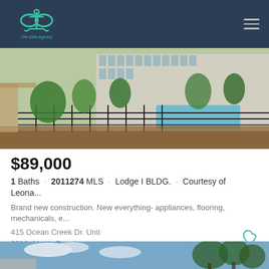[Figure (logo): The Elite Agency logo — anchor with infinity symbol, teal/green color, text 'The Elite Agency' below]
[Figure (photo): Exterior photo of a condo complex showing lush landscaping, iron fence, and a pool area in the background]
$89,000
1 Baths · 2011274 MLS · Lodge I BLDG. · Courtesy of Leona...
Brand new construction. New everything- appliances, flooring, mechanicals, e...
415 Ocean Creek Dr. Unit 2216, Myrtle Beach
Listing courtesy of Leonard Call- Ocean Creek , Jan Rusenko. Selling Office: Leonard Call- Ocean Creek , Jan Rusenko.
[Figure (photo): Bottom portion of another property photo showing trees and blue sky]